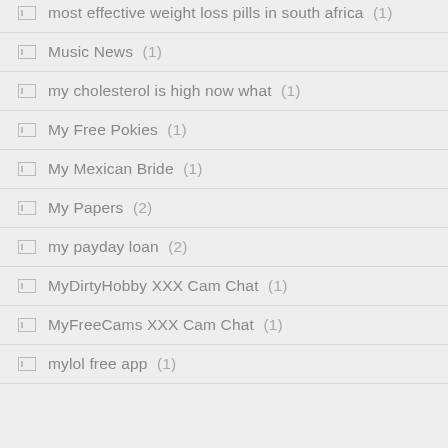most effective weight loss pills in south africa (1)
Music News (1)
my cholesterol is high now what (1)
My Free Pokies (1)
My Mexican Bride (1)
My Papers (2)
my payday loan (2)
MyDirtyHobby XXX Cam Chat (1)
MyFreeCams XXX Cam Chat (1)
mylol free app (1)